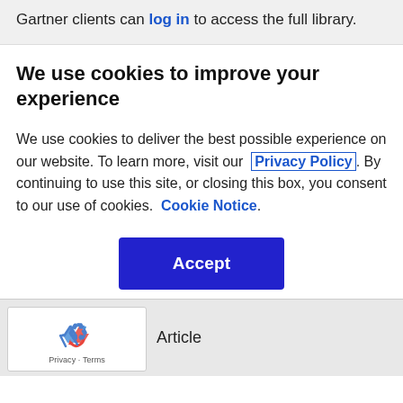Gartner clients can log in to access the full library.
We use cookies to improve your experience
We use cookies to deliver the best possible experience on our website. To learn more, visit our  Privacy Policy . By continuing to use this site, or closing this box, you consent to our use of cookies.  Cookie Notice .
Accept
[Figure (logo): reCAPTCHA logo with recycling arrow icon]
Privacy · Terms
Article